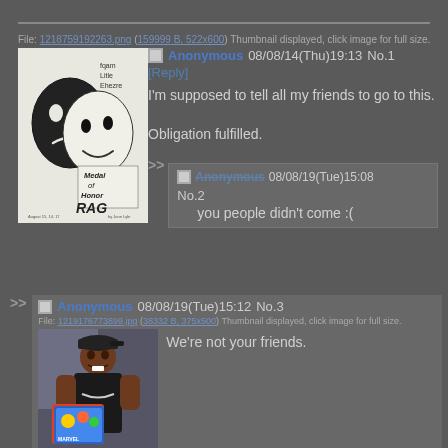File: 1218759192263.png (159999 B, 522x600) Thumbnail displayed, click image for full size.
Anonymous 08/08/14(Thu)19:13 No.1 [Reply]
[Figure (illustration): Black and white theater mask illustration for 'Medal of Honor RAG' play]
I'm supposed to tell all my friends to go to this.

Obligation fulfilled.
Anonymous 08/08/19(Tue)15:08 No.2
you people didn't come :(
Anonymous 08/08/19(Tue)15:12 No.3
File: 1219176773899.jpg (38332 B, 375x500) Thumbnail displayed, click image for full size.
[Figure (photo): Person holding a colorful book/box, wearing a black shirt and chain necklace]
We're not your friends.